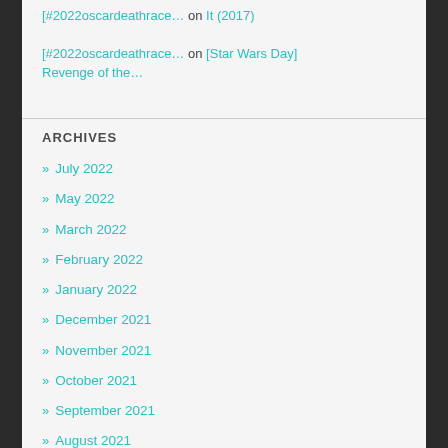[#2022oscardeathrace… on It (2017)
[#2022oscardeathrace… on [Star Wars Day] Revenge of the…
ARCHIVES
» July 2022
» May 2022
» March 2022
» February 2022
» January 2022
» December 2021
» November 2021
» October 2021
» September 2021
» August 2021